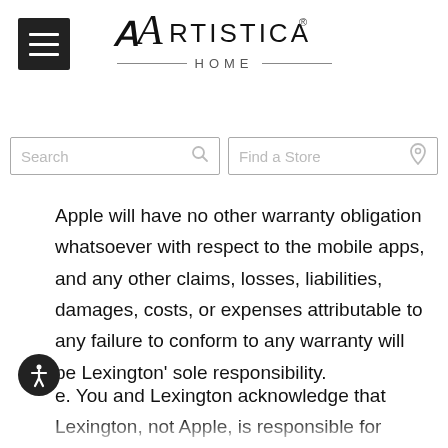[Figure (logo): Artistica Home logo with script A and decorative HOME subtitle with lines]
[Figure (screenshot): Navigation bar with hamburger menu, Search box, and Find a Store box]
Apple will have no other warranty obligation whatsoever with respect to the mobile apps, and any other claims, losses, liabilities, damages, costs, or expenses attributable to any failure to conform to any warranty will be Lexington’ sole responsibility.
e. You and Lexington acknowledge that Lexington, not Apple, is responsible for addressing any of your claims or any third party claims relating to our mobile apps or your